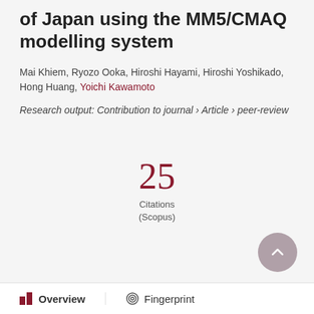of Japan using the MM5/CMAQ modelling system
Mai Khiem, Ryozo Ooka, Hiroshi Hayami, Hiroshi Yoshikado, Hong Huang, Yoichi Kawamoto
Research output: Contribution to journal › Article › peer-review
25 Citations (Scopus)
Overview   Fingerprint